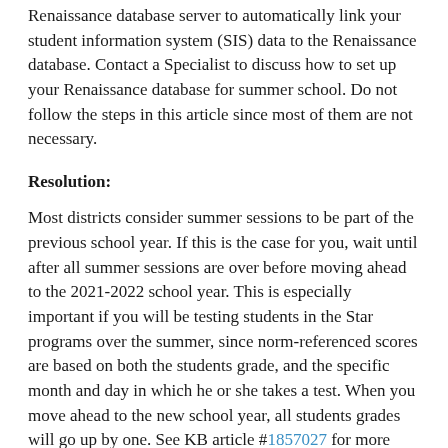Renaissance database server to automatically link your student information system (SIS) data to the Renaissance database. Contact a Specialist to discuss how to set up your Renaissance database for summer school. Do not follow the steps in this article since most of them are not necessary.
Resolution:
Most districts consider summer sessions to be part of the previous school year. If this is the case for you, wait until after all summer sessions are over before moving ahead to the 2021-2022 school year. This is especially important if you will be testing students in the Star programs over the summer, since norm-referenced scores are based on both the students grade, and the specific month and day in which he or she takes a test. When you move ahead to the new school year, all students grades will go up by one. See KB article #1857027 for more information on grade